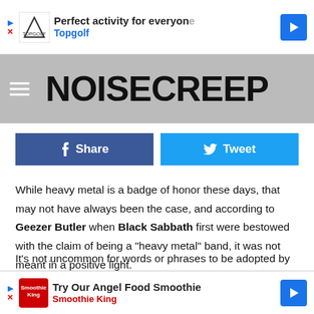[Figure (screenshot): Top advertisement banner for Topgolf: 'Perfect activity for everyone' with Topgolf logo and navigation arrow icon]
NOISECREEP
[Figure (screenshot): Social share buttons: Facebook Share (dark blue) and Twitter Tweet (light blue)]
While heavy metal is a badge of honor these days, that may not have always been the case, and according to Geezer Butler when Black Sabbath first were bestowed with the claim of being a "heavy metal" band, it was not meant in a positive light.
It's not uncommon for words or phrases to be adopted by a culture or movement and change meaning. Just think about that the next time someone talks about the bad man playing the sic... ...en they fi... ...more
[Figure (screenshot): Bottom advertisement banner for Smoothie King: 'Try Our Angel Food Smoothie' with Smoothie King logo and navigation arrow icon]